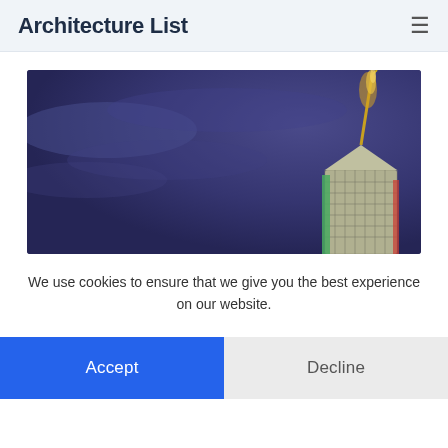Architecture List
[Figure (photo): Photo of the illuminated top of a skyscraper with a golden spire against a dark purple-blue night sky]
We use cookies to ensure that we give you the best experience on our website.
Accept
Decline